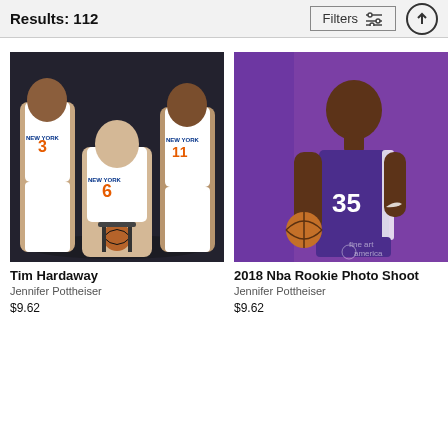Results: 112 | Filters
[Figure (photo): Three New York Knicks players in white uniforms (#3, #6, #11) posing for a photo shoot on a dark background]
Tim Hardaway
Jennifer Pottheiser
$9.62
[Figure (photo): A basketball player in a purple Sacramento Kings uniform (#35) standing sideways holding a basketball against a purple background]
2018 Nba Rookie Photo Shoot
Jennifer Pottheiser
$9.62